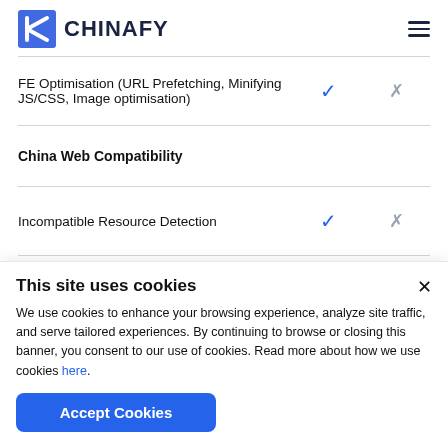[Figure (logo): Chinafy logo with blue geometric mark and dark bold text 'CHINAFY']
| Feature | Chinafy | Other |
| --- | --- | --- |
| FE Optimisation (URL Prefetching, Minifying JS/CSS, Image optimisation) | ✓ | ✗ |
| China Web Compatibility |  |  |
| Incompatible Resource Detection | ✓ | ✗ |
| Resource Optimisation | ✓ | ✗ |
This site uses cookies
We use cookies to enhance your browsing experience, analyze site traffic, and serve tailored experiences. By continuing to browse or closing this banner, you consent to our use of cookies. Read more about how we use cookies here.
Accept Cookies